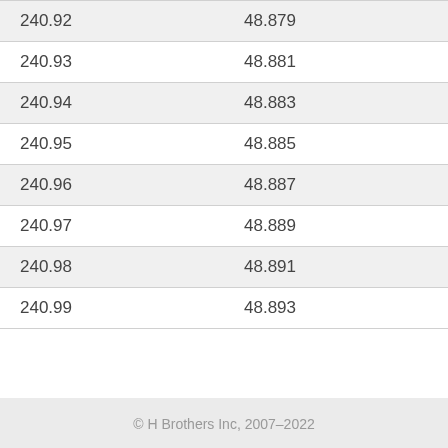| 240.92 | 48.879 |
| 240.93 | 48.881 |
| 240.94 | 48.883 |
| 240.95 | 48.885 |
| 240.96 | 48.887 |
| 240.97 | 48.889 |
| 240.98 | 48.891 |
| 240.99 | 48.893 |
© H Brothers Inc, 2007–2022